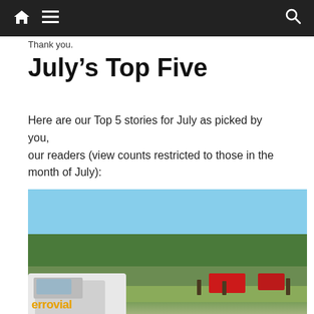Navigation bar with home icon, menu icon, and search icon
Thank you.
July's Top Five
Here are our Top 5 stories for July as picked by you, our readers (view counts restricted to those in the month of July):
[Figure (photo): Outdoor scene showing a white Ferrovial vehicle in the foreground on the left, red fire trucks and firefighters in the background middle-right, with a forested area and rocky terrain behind them under a blue sky.]